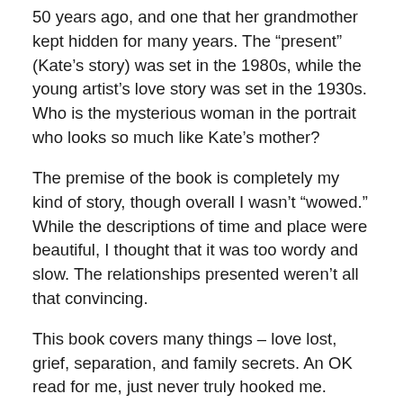50 years ago, and one that her grandmother kept hidden for many years. The “present” (Kate’s story) was set in the 1980s, while the young artist’s love story was set in the 1930s. Who is the mysterious woman in the portrait who looks so much like Kate’s mother?
The premise of the book is completely my kind of story, though overall I wasn’t “wowed.” While the descriptions of time and place were beautiful, I thought that it was too wordy and slow. The relationships presented weren’t all that convincing.
This book covers many things – love lost, grief, separation, and family secrets. An OK read for me, just never truly hooked me. Thank you to the publisher and NetGalley for providing me a copy of this book in exchange for an honest review.